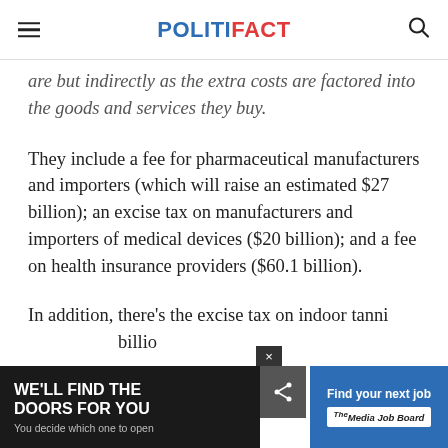POLITIFACT
are but indirectly as the extra costs are factored into the goods and services they buy.
They include a fee for pharmaceutical manufacturers and importers (which will raise an estimated $27 billion); an excise tax on manufacturers and importers of medical devices ($20 billion); and a fee on health insurance providers ($60.1 billion).
In addition, there's the excise tax on indoor tanni... billio...
[Figure (screenshot): Advertisement overlay at the bottom of the page: left side dark background with 'WE'LL FIND THE DOORS FOR YOU - You decide which one to open', right side blue background with 'Find your next job' and 'Media Job Board' logo. Close button (x) and share button visible.]